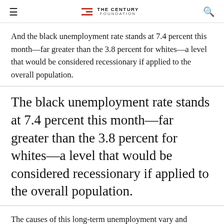THE CENTURY FOUNDATION
And the black unemployment rate stands at 7.4 percent this month—far greater than the 3.8 percent for whites—a level that would be considered recessionary if applied to the overall population.
The black unemployment rate stands at 7.4 percent this month—far greater than the 3.8 percent for whites—a level that would be considered recessionary if applied to the overall population.
The causes of this long-term unemployment vary and